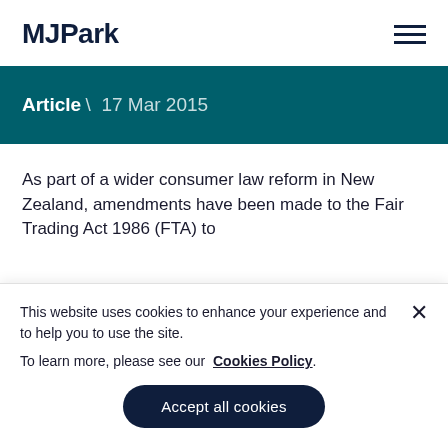AJPark
Article \ 17 Mar 2015
As part of a wider consumer law reform in New Zealand, amendments have been made to the Fair Trading Act 1986 (FTA) to...
This website uses cookies to enhance your experience and to help you to use the site.
To learn more, please see our Cookies Policy.
Accept all cookies